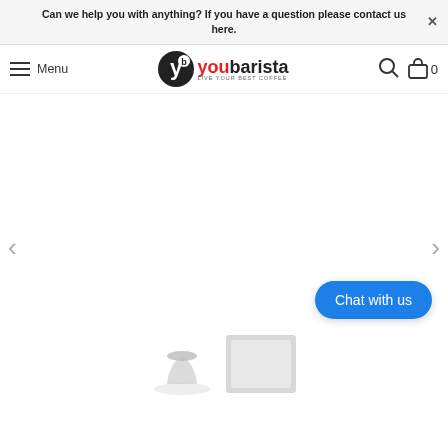Can we help you with anything? If you have a question please contact us here.
[Figure (logo): YouBarista logo with circular icon and tagline LIVE YOUR BEST COFFEE]
Menu
[Figure (screenshot): Product image carousel area, mostly white/blank with left and right navigation arrows]
Chat with us
[Figure (photo): Partial product images visible at the bottom of the carousel]